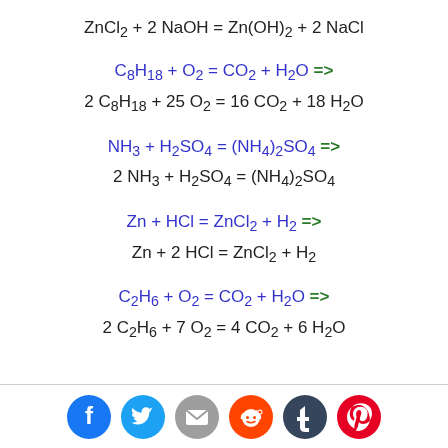[Figure (infographic): Social share icons: Facebook (blue), Twitter (light blue), Email (grey), Reddit (orange), Tumblr (dark navy), Pinterest (red)]